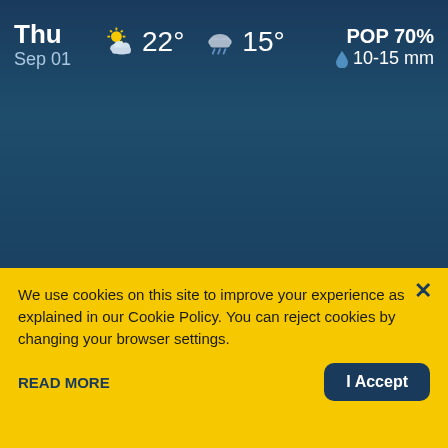[Figure (screenshot): Weather forecast widget showing Thursday Sep 01 with partly cloudy high of 22 degrees, rainy low of 15 degrees, POP 70%, 10-15 mm precipitation, on dark blue background]
We use cookies on this site to improve your experience as explained in our Cookie Policy. You can reject cookies by changing your browser settings.
READ MORE
I Accept